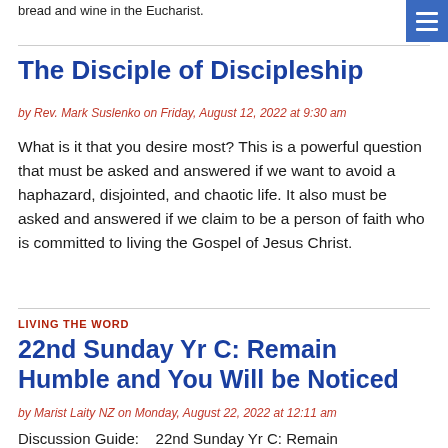bread and wine in the Eucharist.
The Disciple of Discipleship
by Rev. Mark Suslenko on Friday, August 12, 2022 at 9:30 am
What is it that you desire most? This is a powerful question that must be asked and answered if we want to avoid a haphazard, disjointed, and chaotic life. It also must be asked and answered if we claim to be a person of faith who is committed to living the Gospel of Jesus Christ.
LIVING THE WORD
22nd Sunday Yr C: Remain Humble and You Will be Noticed
by Marist Laity NZ on Monday, August 22, 2022 at 12:11 am
Discussion Guide:    22nd Sunday Yr C: Remain